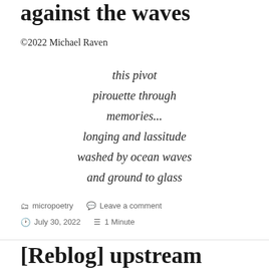against the waves
©2022 Michael Raven
this pivot
pirouette through
memories...
longing and lassitude
washed by ocean waves
and ground to glass
micropoetry   Leave a comment
July 30, 2022   1 Minute
[Reblog] upstream